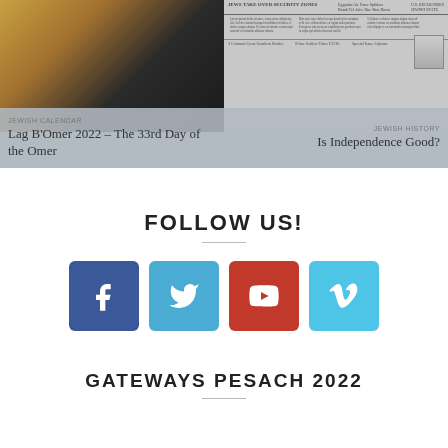[Figure (photo): Left card with photo of person in autumn setting, overlaid with text 'Lag B'Omer 2022 – The 33rd Day of the Omer']
[Figure (photo): Right card with newspaper front page image, overlaid with text 'Is Independence Good?']
FOLLOW US!
[Figure (infographic): Four social media icon buttons: Facebook (blue), Twitter (light blue), YouTube (red), Vimeo (light blue)]
GATEWAYS PESACH 2022